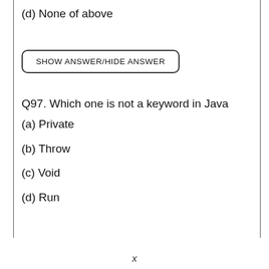(d) None of above
SHOW ANSWER/HIDE ANSWER
Q97. Which one is not a keyword in Java
(a) Private
(b) Throw
(c) Void
(d) Run
x